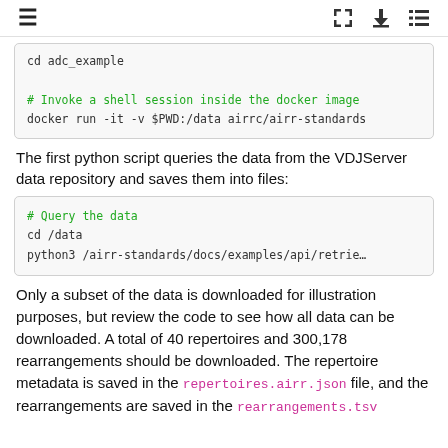≡  ⛶ ⬇ ⋮⋮
[Figure (screenshot): Code block showing: cd adc_example  # Invoke a shell session inside the docker image  docker run -it -v $PWD:/data airrc/airr-standards]
The first python script queries the data from the VDJServer data repository and saves them into files:
[Figure (screenshot): Code block showing: # Query the data  cd /data  python3 /airr-standards/docs/examples/api/retrie…]
Only a subset of the data is downloaded for illustration purposes, but review the code to see how all data can be downloaded. A total of 40 repertoires and 300,178 rearrangements should be downloaded. The repertoire metadata is saved in the repertoires.airr.json file, and the rearrangements are saved in the rearrangements.tsv